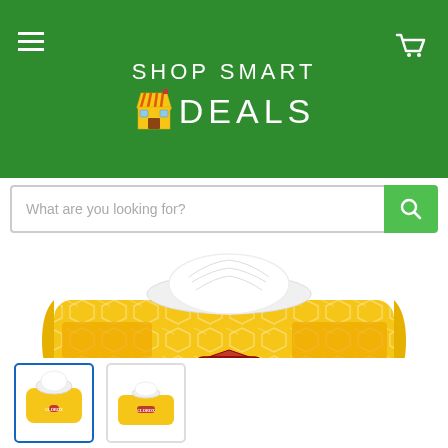SHOP SMART DEALS
[Figure (screenshot): E-commerce website screenshot showing Shop Smart Deals header with hamburger menu, store emoji logo, cart icon, search bar, main product image of Clorox wipes yellow package, and two thumbnail images at the bottom.]